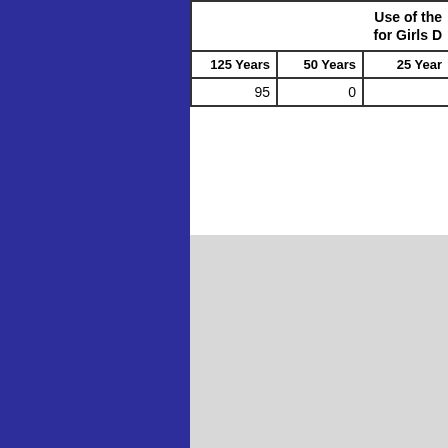| Use of the Name for Girls D... | 125 Years | 50 Years | 25 Years |
| --- | --- | --- | --- |
|  | 95 | 0 |  |
[Figure (other): Gray placeholder/chart area below the table]
The table below indicates the number of times the name was given to baby girls and baby boys each year since it first appeared in the top thousand...